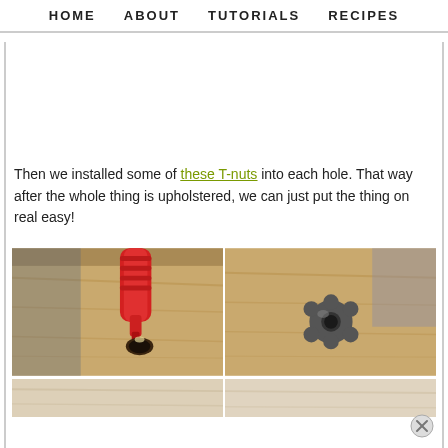HOME   ABOUT   TUTORIALS   RECIPES
Then we installed some of these T-nuts into each hole. That way after the whole thing is upholstered, we can just put the thing on real easy!
[Figure (photo): Two side-by-side photos showing T-nut installation: left photo shows a red tool applying adhesive into a hole in a wooden board; right photo shows a T-nut installed flush into the wood surface.]